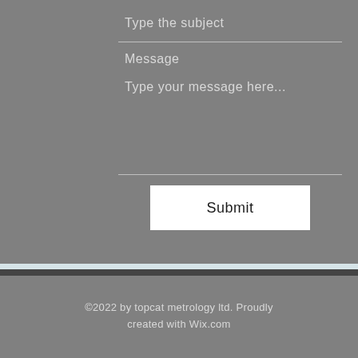Type the subject
Message
Type your message here...
Submit
©2022 by topcat metrology ltd. Proudly created with Wix.com